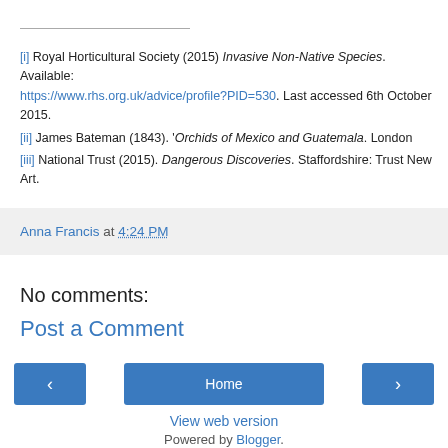[i] Royal Horticultural Society (2015) Invasive Non-Native Species. Available: https://www.rhs.org.uk/advice/profile?PID=530. Last accessed 6th October 2015.
[ii] James Bateman (1843). 'Orchids of Mexico and Guatemala. London
[iii] National Trust (2015). Dangerous Discoveries. Staffordshire: Trust New Art.
Anna Francis at 4:24 PM
No comments:
Post a Comment
Home
View web version
Powered by Blogger.